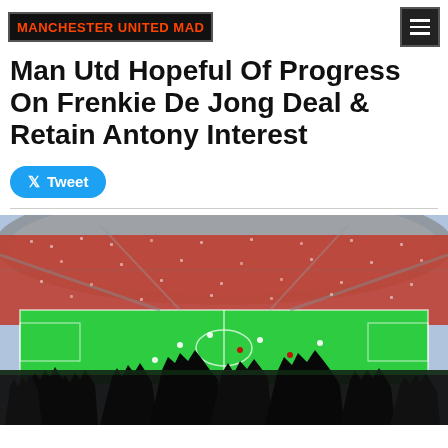MANCHESTER UNITED MAD
Man Utd Hopeful Of Progress On Frenkie De Jong Deal & Retain Antony Interest
Tweet
[Figure (photo): A football stadium packed with fans watching a match, with silhouetted hands raised in the foreground and a green pitch visible with players on it.]